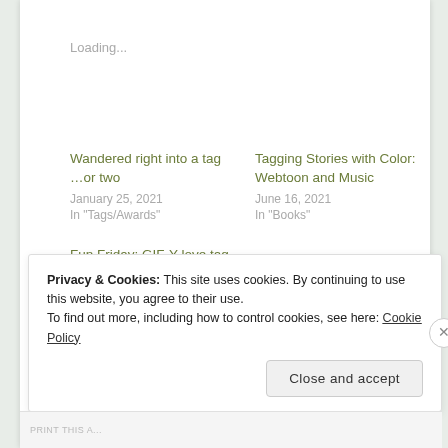Loading...
Wandered right into a tag …or two
January 25, 2021
In "Tags/Awards"
Tagging Stories with Color: Webtoon and Music
June 16, 2021
In "Books"
Fun Friday: GIF-Y love tag
July 9, 2021
In "Fun Friday"
Privacy & Cookies: This site uses cookies. By continuing to use this website, you agree to their use.
To find out more, including how to control cookies, see here: Cookie Policy
Close and accept